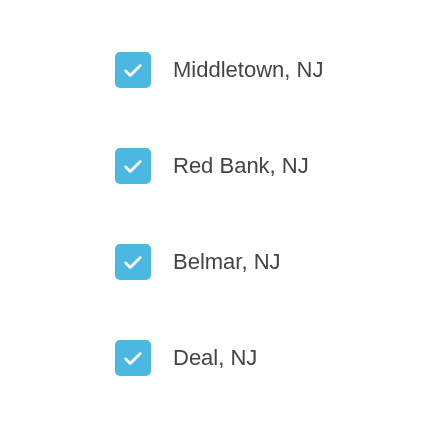Middletown, NJ
Red Bank, NJ
Belmar, NJ
Deal, NJ
West Long Branch, NJ
Shrewsbury, NJ
Holmdel, NJ
Rumson, NJ
Marlboro, NJ